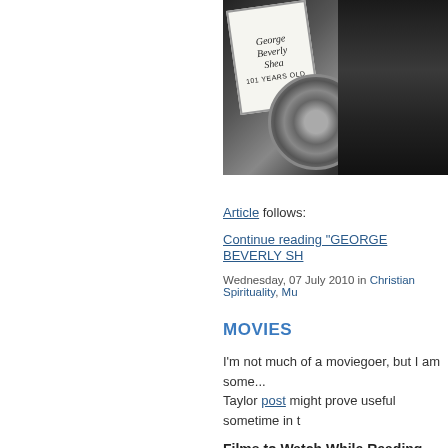[Figure (photo): Partial photograph showing a black car with a sign reading 'George Beverly Shea 101 Years Old' leaning against it, with a visible wheel/hubcap]
Article follows:
Continue reading "GEORGE BEVERLY SH...
Wednesday, 07 July 2010 in Christian Spirituality, Mu...
MOVIES
I'm not much of a moviegoer, but I am some... Taylor post might prove useful sometime in t...
Films to Watch While Reading Med...
If you're going to read Grant Horner... the Movies, he strongly suggests that...